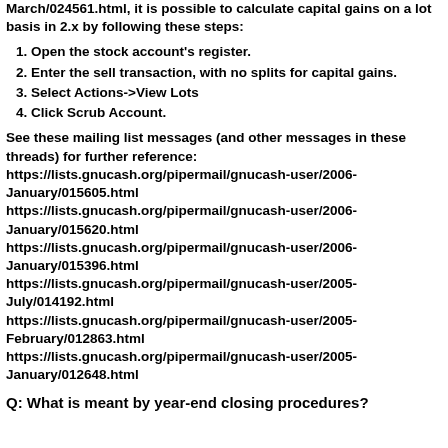March/024561.html, it is possible to calculate capital gains on a lot basis in 2.x by following these steps:
1. Open the stock account's register.
2. Enter the sell transaction, with no splits for capital gains.
3. Select Actions->View Lots
4. Click Scrub Account.
See these mailing list messages (and other messages in these threads) for further reference:
https://lists.gnucash.org/pipermail/gnucash-user/2006-January/015605.html
https://lists.gnucash.org/pipermail/gnucash-user/2006-January/015620.html
https://lists.gnucash.org/pipermail/gnucash-user/2006-January/015396.html
https://lists.gnucash.org/pipermail/gnucash-user/2005-July/014192.html
https://lists.gnucash.org/pipermail/gnucash-user/2005-February/012863.html
https://lists.gnucash.org/pipermail/gnucash-user/2005-January/012648.html
Q: What is meant by year-end closing procedures?